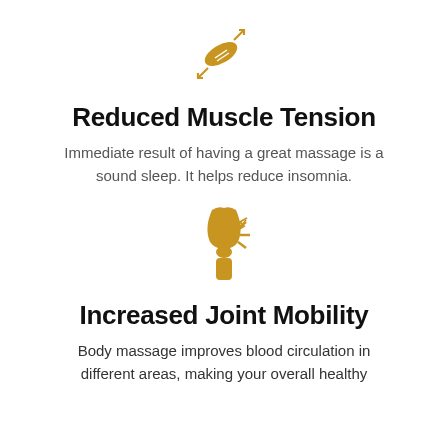[Figure (illustration): Golden icon of a muscle/eye-shaped fiber with arrows pointing outward diagonally, representing muscle tension]
Reduced Muscle Tension
Immediate result of having a great massage is a sound sleep. It helps reduce insomnia.
[Figure (illustration): Golden icon of a knee joint with pain lines radiating from it, representing joint pain or mobility]
Increased Joint Mobility
Body massage improves blood circulation in different areas, making your overall healthy